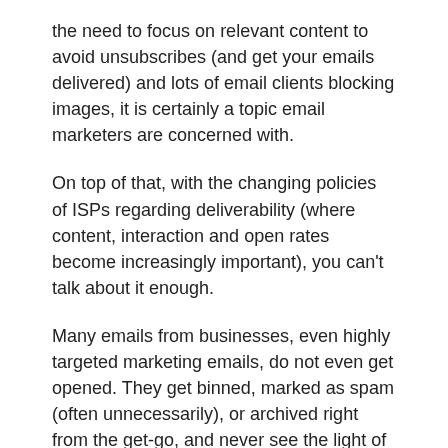the need to focus on relevant content to avoid unsubscribes (and get your emails delivered) and lots of email clients blocking images, it is certainly a topic email marketers are concerned with.
On top of that, with the changing policies of ISPs regarding deliverability (where content, interaction and open rates become increasingly important), you can't talk about it enough.
Many emails from businesses, even highly targeted marketing emails, do not even get opened. They get binned, marked as spam (often unnecessarily), or archived right from the get-go, and never see the light of day.